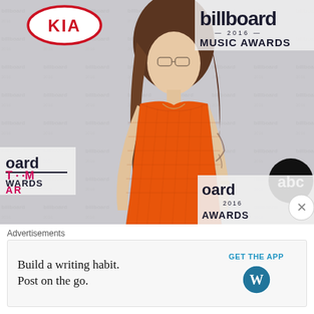[Figure (photo): Photo of a woman wearing an orange mesh/lace dress at the Billboard Music Awards 2016 red carpet. KIA logo visible top left, Billboard 2016 Music Awards logo top right and bottom right, T-Mobile and AR text bottom left, ABC logo middle right.]
Advertisements
Build a writing habit.
Post on the go.
GET THE APP